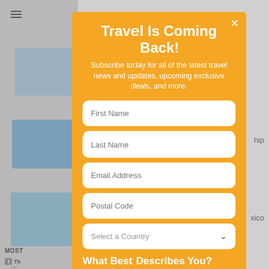[Figure (screenshot): Background website page with travel images and text, partially obscured by modal overlay]
Travel Is Coming Back!
Subscribe today for all of the latest travel news and updates, upcoming exclusive deals, and more.
First Name
Last Name
Email Address
Postal Code
Select a Country
What Best Describes You?
Travel Agent
Travel Supplier
Traveler